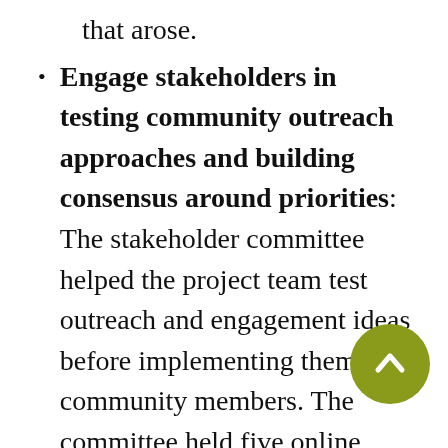that arose.
Engage stakeholders in testing community outreach approaches and building consensus around priorities: The stakeholder committee helped the project team test outreach and engagement ideas before implementing them with community members. The committee held five online workshops designed to encourage dialogue around conceptual ide… The committee used interacti…